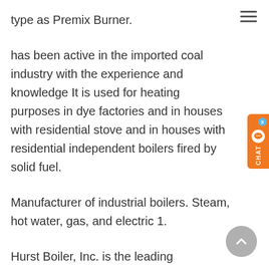type as Premix Burner.
has been active in the imported coal industry with the experience and knowledge It is used for heating purposes in dye factories and in houses with residential stove and in houses with residential independent boilers fired by solid fuel.
Manufacturer of industrial boilers. Steam, hot water, gas, and electric 1.
Hurst Boiler, Inc. is the leading manufacturer of gas, oil, wood, coal, solid fuel, steam accumulators, super heaters, underfeed